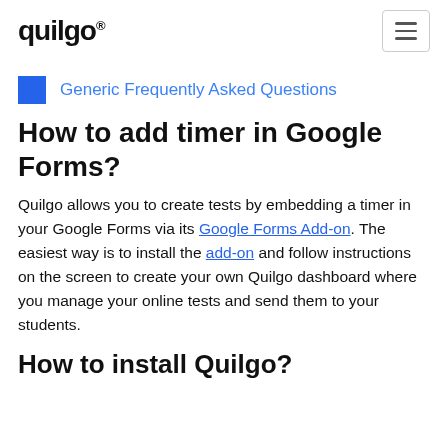quilgo®
Generic Frequently Asked Questions
How to add timer in Google Forms?
Quilgo allows you to create tests by embedding a timer in your Google Forms via its Google Forms Add-on. The easiest way is to install the add-on and follow instructions on the screen to create your own Quilgo dashboard where you manage your online tests and send them to your students.
How to install Quilgo?